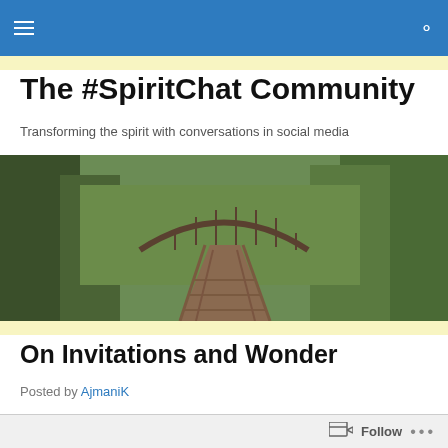Navigation bar with menu and search icons
The #SpiritChat Community
Transforming the spirit with conversations in social media
[Figure (photo): A winding wooden boardwalk/bridge path through a lush green forest with trees on both sides and an arched bridge structure in the background.]
On Invitations and Wonder
Posted by AjmaniK
Follow ...